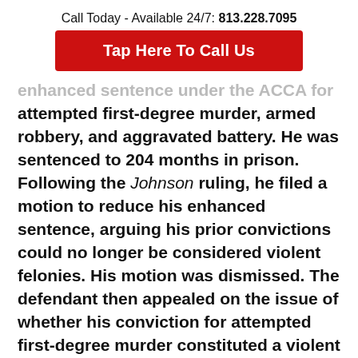Call Today - Available 24/7: 813.228.7095
Tap Here To Call Us
enhanced sentence under the ACCA for attempted first-degree murder, armed robbery, and aggravated battery. He was sentenced to 204 months in prison. Following the Johnson ruling, he filed a motion to reduce his enhanced sentence, arguing his prior convictions could no longer be considered violent felonies. His motion was dismissed. The defendant then appealed on the issue of whether his conviction for attempted first-degree murder constituted a violent felony. On appeal, the court affirmed his enhanced